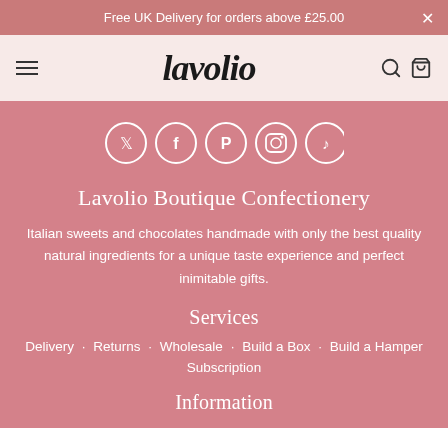Free UK Delivery for orders above £25.00
[Figure (logo): Lavolio logo in bold italic serif font]
[Figure (infographic): Social media icons: Twitter, Facebook, Pinterest, Instagram, TikTok]
Lavolio Boutique Confectionery
Italian sweets and chocolates handmade with only the best quality natural ingredients for a unique taste experience and perfect inimitable gifts.
Services
Delivery
Returns
Wholesale
Build a Box
Build a Hamper
Subscription
Information